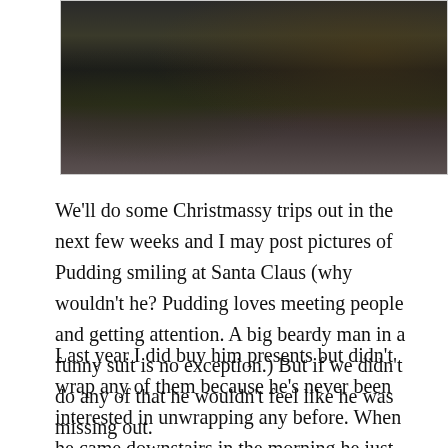[Figure (photo): Photo of a person in a dark jacket holding a green wrapped present, with another person visible at right edge wearing a red and yellow garment.]
We'll do some Christmassy trips out in the next few weeks and I may post pictures of Pudding smiling at Santa Claus (why wouldn't he? Pudding loves meeting people and getting attention. A big beardy man in a funny suit is no exception.) But if we didn't do any of that he wouldn't feel like he was missing out.
Last year I did buy him presents but didn't wrap any of them because he's never been interested in unwrapping any before. When he came downstairs in the morning he just wanted his breakfast and TV as usual. In all the